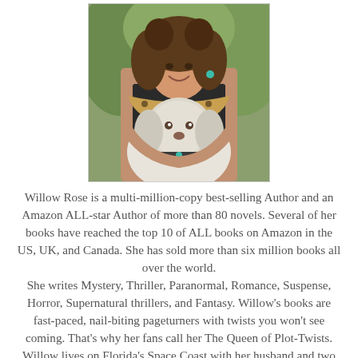[Figure (photo): A smiling woman with curly hair and a leopard-print scarf hugging a white fluffy dog, outdoors with green foliage in background.]
Willow Rose is a multi-million-copy best-selling Author and an Amazon ALL-star Author of more than 80 novels. Several of her books have reached the top 10 of ALL books on Amazon in the US, UK, and Canada. She has sold more than six million books all over the world. She writes Mystery, Thriller, Paranormal, Romance, Suspense, Horror, Supernatural thrillers, and Fantasy. Willow's books are fast-paced, nail-biting pageturners with twists you won't see coming. That's why her fans call her The Queen of Plot-Twists. Willow lives on Florida's Space Coast with her husband and two daughters. When she is not writing or reading, you will